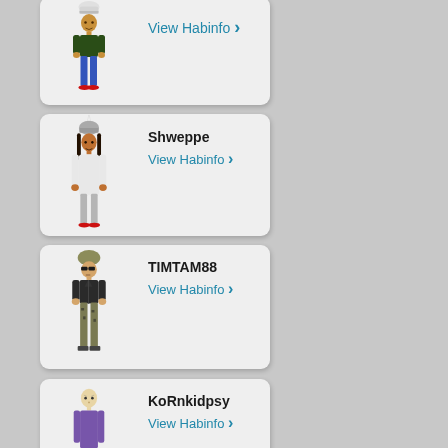[Figure (illustration): Habbo Hotel avatar card (partially cut at top): pixel art character wearing white beanie, dark green top, blue pants, red shoes. Shows 'View Habinfo >' link.]
View Habinfo >
[Figure (illustration): Habbo Hotel avatar card for 'Shweppe': pixel art character with unicorn horn helmet, white outfit, red shoes.]
Shweppe
View Habinfo >
[Figure (illustration): Habbo Hotel avatar card for 'TIMTAM88': pixel art character with army helmet, dark jacket, camo pants.]
TIMTAM88
View Habinfo >
[Figure (illustration): Habbo Hotel avatar card for 'KoRnkidpsy': pixel art character bald, purple outfit (partially visible at bottom).]
KoRnkidpsy
View Habinfo >